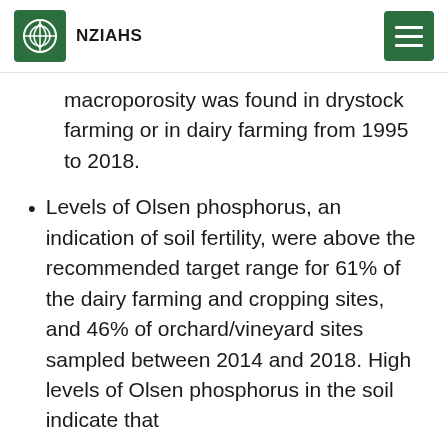NZIAHS
macroporosity was found in drystock farming or in dairy farming from 1995 to 2018.
Levels of Olsen phosphorus, an indication of soil fertility, were above the recommended target range for 61% of the dairy farming and cropping sites, and 46% of orchard/vineyard sites sampled between 2014 and 2018. High levels of Olsen phosphorus in the soil indicate that